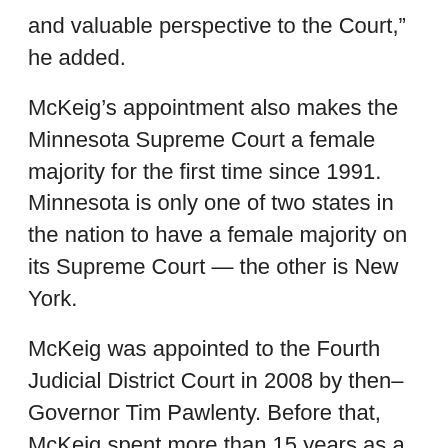and valuable perspective to the Court,” he added.
McKeig’s appointment also makes the Minnesota Supreme Court a female majority for the first time since 1991. Minnesota is only one of two states in the nation to have a female majority on its Supreme Court — the other is New York.
McKeig was appointed to the Fourth Judicial District Court in 2008 by then–Governor Tim Pawlenty. Before that, McKeig spent more than 15 years as a Hennepin County prosecutor in the Child Protection Division, where she specialized in Indian Child Welfare Act cases.
The youngest of the Supreme Court finalists, McKeig is a member of the American Indian Bar